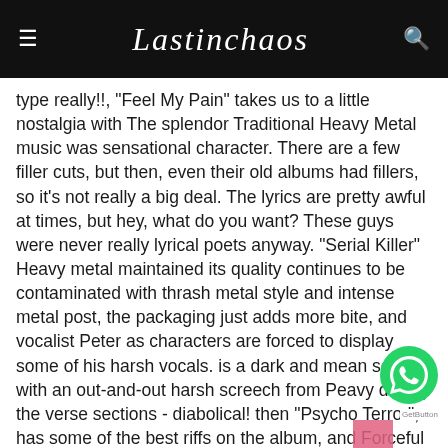Lastinchaos
type really!!, "Feel My Pain" takes us to a little nostalgia with The splendor Traditional Heavy Metal music was sensational character. There are a few filler cuts, but then, even their old albums had fillers, so it's not really a big deal. The lyrics are pretty awful at times, but hey, what do you want? These guys were never really lyrical poets anyway. "Serial Killer" Heavy metal maintained its quality continues to be contaminated with thrash metal style and intense metal post, the packaging just adds more bite, and vocalist Peter as characters are forced to display some of his harsh vocals. is a dark and mean song with an out-and-out harsh screech from Peavy during the verse sections - diabolical! then "Psycho Terror", has some of the best riffs on the album, and Forceful headbangable mightily! Breakdown riffing with stomping accidentally make Gw do Headbang yeahhh!!! and the last track to 11, Rage Bringing back the song "Eternally" which had previously been introduced in the material the band projected Nuclear Blast records incorporated in the Nuclear Blast Allstars on the album "Into the Light". more felt the feel of his song ballads